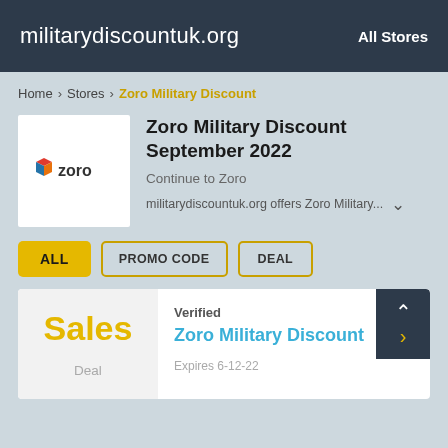militarydiscountuk.org   All Stores
Home > Stores > Zoro Military Discount
Zoro Military Discount September 2022
Continue to Zoro
militarydiscountuk.org offers Zoro Military...
ALL   PROMO CODE   DEAL
Verified
Zoro Military Discount
Expires 6-12-22
Deal